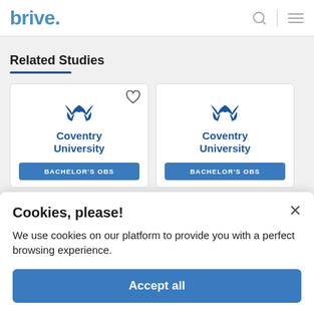brive.
Related Studies
[Figure (screenshot): Two Coventry University course cards showing the university logo and a blue BACHELORS badge at the bottom of each card. The first card has a heart/favorite icon in the top right corner.]
Cookies, please!
We use cookies on our platform to provide you with a perfect browsing experience.
Accept all